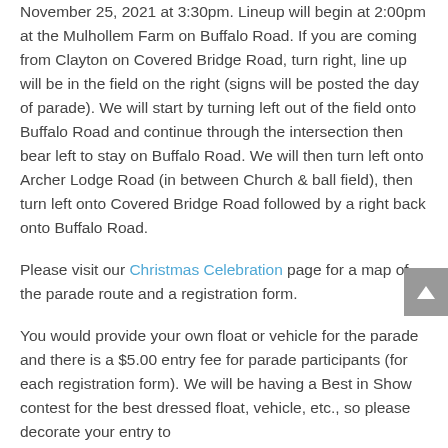November 25, 2021 at 3:30pm. Lineup will begin at 2:00pm at the Mulhollem Farm on Buffalo Road. If you are coming from Clayton on Covered Bridge Road, turn right, line up will be in the field on the right (signs will be posted the day of parade). We will start by turning left out of the field onto Buffalo Road and continue through the intersection then bear left to stay on Buffalo Road. We will then turn left onto Archer Lodge Road (in between Church & ball field), then turn left onto Covered Bridge Road followed by a right back onto Buffalo Road.
Please visit our Christmas Celebration page for a map of the parade route and a registration form.
You would provide your own float or vehicle for the parade and there is a $5.00 entry fee for parade participants (for each registration form). We will be having a Best in Show contest for the best dressed float, vehicle, etc., so please decorate your entry to